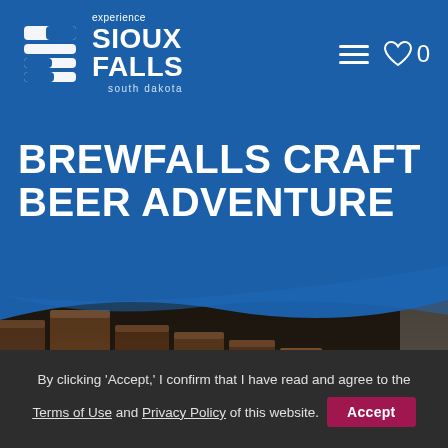[Figure (logo): Experience Sioux Falls, South Dakota logo with stylized S icon in white on blue background]
[Figure (infographic): Hamburger menu icon and heart/favorites icon with count 0 in white on blue]
BREWFALLS CRAFT BEER ADVENTURE
[Figure (photo): Beer barrels/kegs arranged in a row photographed in low light, with a white wave overlay separating blue header from photo]
By clicking 'Accept,' I confirm that I have read and agree to the Terms of Use and Privacy Policy of this website.
Accept